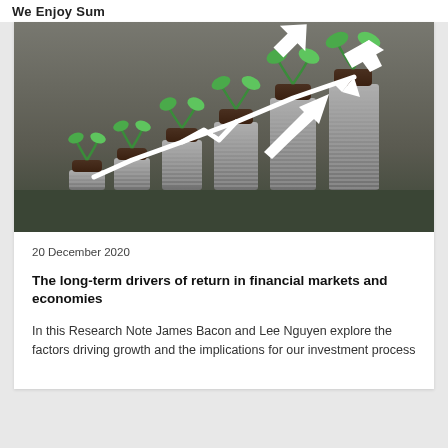We Enjoy Sum
[Figure (illustration): Stacks of coins increasing in height from left to right, each with a green plant sprouting from the top, set against a grey concrete background. A white upward-trending arrow/chart overlay is visible above the coin stacks, symbolizing financial growth.]
20 December 2020
The long-term drivers of return in financial markets and economies
In this Research Note James Bacon and Lee Nguyen explore the factors driving growth and the implications for our investment process